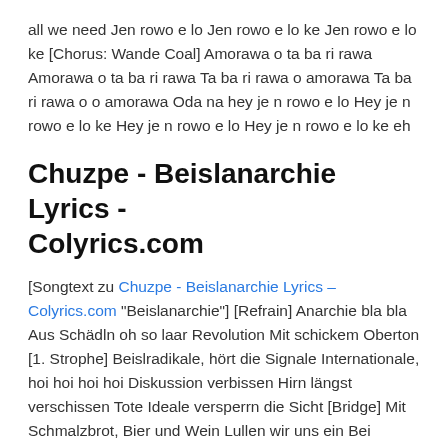all we need Jen rowo e lo Jen rowo e lo ke Jen rowo e lo ke [Chorus: Wande Coal] Amorawa o ta ba ri rawa Amorawa o ta ba ri rawa Ta ba ri rawa o amorawa Ta ba ri rawa o o amorawa Oda na hey je n rowo e lo Hey je n rowo e lo ke Hey je n rowo e lo Hey je n rowo e lo ke eh
Chuzpe - Beislanarchie Lyrics - Colyrics.com
[Songtext zu Chuzpe - Beislanarchie Lyrics – Colyrics.com "Beislanarchie"] [Refrain] Anarchie bla bla Aus Schädln oh so laar Revolution Mit schickem Oberton [1. Strophe] Beislradikale, hört die Signale Internationale, hoi hoi hoi hoi Diskussion verbissen Hirn längst verschissen Tote Ideale versperrn die Sicht [Bridge] Mit Schmalzbrot, Bier und Wein Lullen wir uns ein Bei Biermann und bei Bier Kriegen feuchte Augen wir [Refrain] Anarchie bla bla Aus